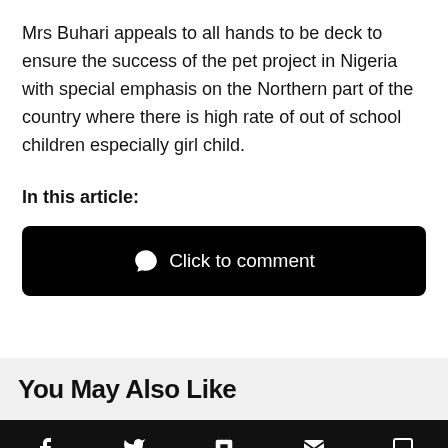Mrs Buhari appeals to all hands to be deck to ensure the success of the pet project in Nigeria with special emphasis on the Northern part of the country where there is high rate of out of school children especially girl child.
In this article:
[Figure (other): Black rounded button with speech bubble icon and text 'Click to comment']
You May Also Like
[Figure (other): Black bottom navigation bar with social sharing icons: Facebook, Twitter, Flipboard, Email, Comment]